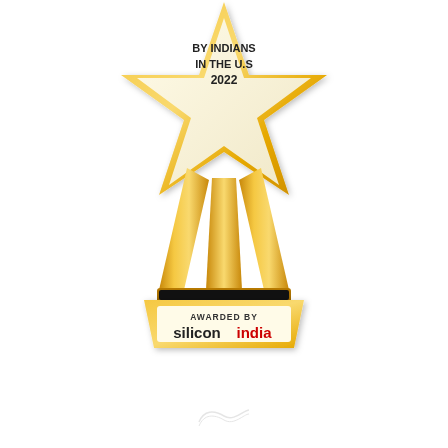[Figure (illustration): Award trophy with a star shape on top containing text 'BY INDIANS IN THE U.S 2022', golden legs/stand, dark base, and a plaque reading 'AWARDED BY siliconindia']